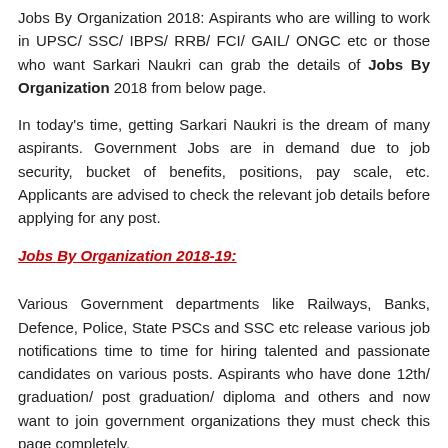Jobs By Organization 2018: Aspirants who are willing to work in UPSC/ SSC/ IBPS/ RRB/ FCI/ GAIL/ ONGC etc or those who want Sarkari Naukri can grab the details of Jobs By Organization 2018 from below page.
In today's time, getting Sarkari Naukri is the dream of many aspirants. Government Jobs are in demand due to job security, bucket of benefits, positions, pay scale, etc. Applicants are advised to check the relevant job details before applying for any post.
Jobs By Organization 2018-19:
Various Government departments like Railways, Banks, Defence, Police, State PSCs and SSC etc release various job notifications time to time for hiring talented and passionate candidates on various posts. Aspirants who have done 12th/ graduation/ post graduation/ diploma and others and now want to join government organizations they must check this page completely.